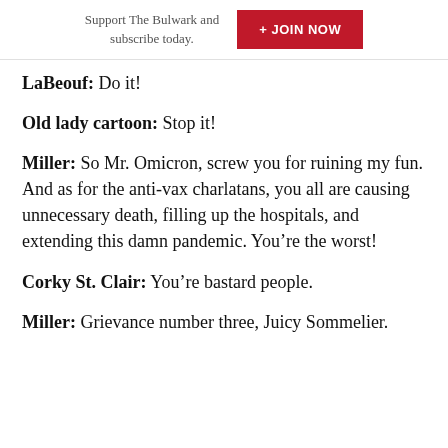Support The Bulwark and subscribe today. + JOIN NOW
LaBeouf: Do it!
Old lady cartoon: Stop it!
Miller: So Mr. Omicron, screw you for ruining my fun. And as for the anti-vax charlatans, you all are causing unnecessary death, filling up the hospitals, and extending this damn pandemic. You’re the worst!
Corky St. Clair: You’re bastard people.
Miller: Grievance number three, Juicy Sommelier.